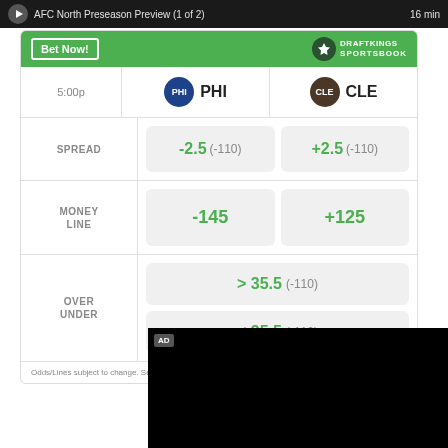AFC North Preseason Preview (1 of 2) · 16 min
[Figure (infographic): DraftKings Sportsbook betting widget showing PHI vs CLE matchup at 5:00p with spread, money line, and over/under odds]
Odds/Lines subject to change. See draftkings.com for details.